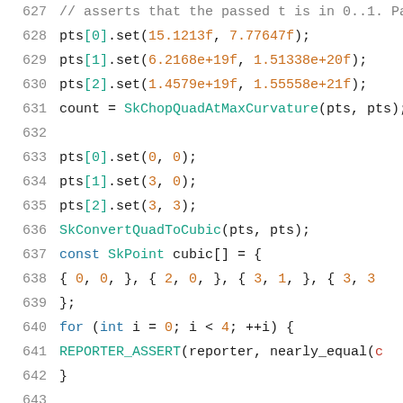[Figure (screenshot): Source code listing showing lines 627-648 of a C++ file with syntax highlighting. Line numbers on left in gray, code on right with colored tokens for keywords, identifiers, strings, and punctuation.]